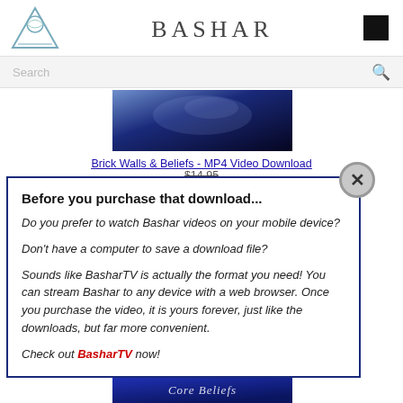BASHAR
Search
[Figure (photo): Blue nebula/cloud product image thumbnail]
Brick Walls & Beliefs - MP4 Video Download
$14.95
Before you purchase that download...
Do you prefer to watch Bashar videos on your mobile device?
Don't have a computer to save a download file?
Sounds like BasharTV is actually the format you need! You can stream Bashar to any device with a web browser. Once you purchase the video, it is yours forever, just like the downloads, but far more convenient. Check out BasharTV now!
[Figure (screenshot): Partial product image at bottom of page]